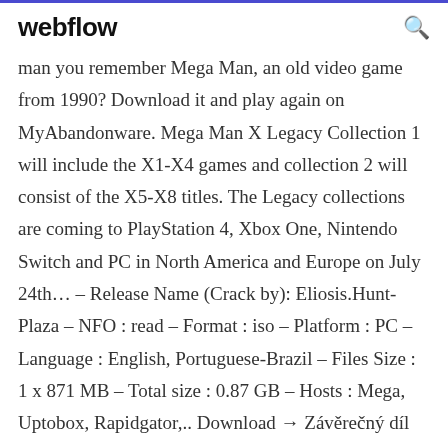webflow
man you remember Mega Man, an old video game from 1990? Download it and play again on MyAbandonware. Mega Man X Legacy Collection 1 will include the X1-X4 games and collection 2 will consist of the X5-X8 titles. The Legacy collections are coming to PlayStation 4, Xbox One, Nintendo Switch and PC in North America and Europe on July 24th… – Release Name (Crack by): Eliosis.Hunt-Plaza – NFO : read – Format : iso – Platform : PC – Language : English, Portuguese-Brazil – Files Size : 1 x 871 MB – Total size : 0.87 GB – Hosts : Mega, Uptobox, Rapidgator,.. Download → Závěrečný díl celé série. Tajemný sponzor Mr. X pořádá první ročník turnaje nejlepších robotů. Než však